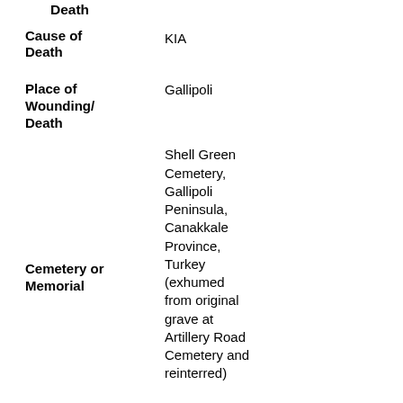Death
Cause of Death: KIA
Place of Wounding/Death: Gallipoli
Cemetery or Memorial: Shell Green Cemetery, Gallipoli Peninsula, Canakkale Province, Turkey (exhumed from original grave at Artillery Road Cemetery and reinterred)